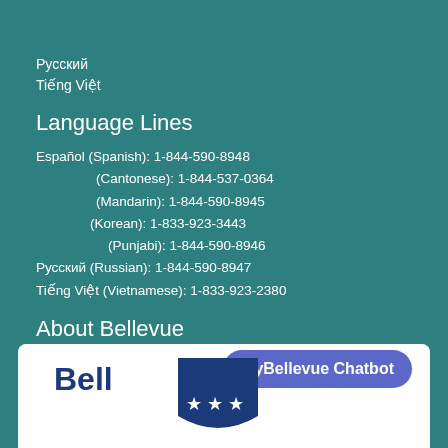Русский
Tiếng Việt
Language Lines
Español (Spanish): 1-844-590-8948
(Cantonese): 1-844-537-0364
(Mandarin): 1-844-590-8945
(Korean): 1-833-923-3443
(Punjabi): 1-844-590-8946
Русский (Russian): 1-844-590-8947
Tiếng Việt (Vietnamese): 1-833-923-2380
About Bellevue
[Figure (logo): Bellevue city logo with shield and stars, partially visible in white box at bottom]